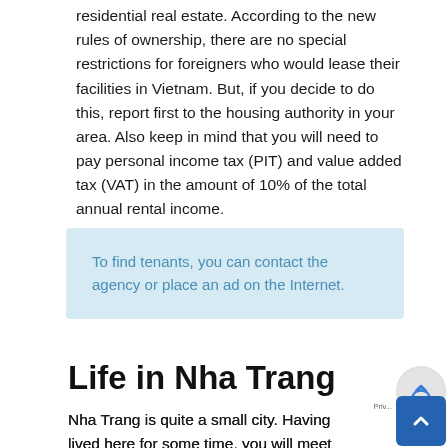residential real estate. According to the new rules of ownership, there are no special restrictions for foreigners who would lease their facilities in Vietnam. But, if you decide to do this, report first to the housing authority in your area. Also keep in mind that you will need to pay personal income tax (PIT) and value added tax (VAT) in the amount of 10% of the total annual rental income.
To find tenants, you can contact the agency or place an ad on the Internet.
Life in Nha Trang
Nha Trang is quite a small city. Having lived here for some time, you will meet familiar faces on the street every day. In Nha Trang, you will get the opportunity to plunge into another culture. Here you will not see street